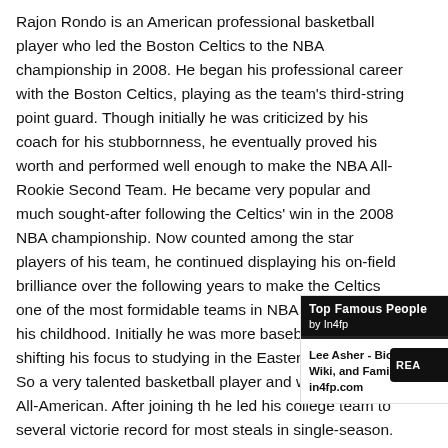Rajon Rondo is an American professional basketball player who led the Boston Celtics to the NBA championship in 2008. He began his professional career with the Boston Celtics, playing as the team's third-string point guard. Though initially he was criticized by his coach for his stubbornness, he eventually proved his worth and performed well enough to make the NBA All-Rookie Second Team. He became very popular and much sought-after following the Celtics' win in the 2008 NBA championship. Now counted among the star players of his team, he continued displaying his on-field brilliance over the following years to make the Celtics one of the most formidable teams in NBA. Rondo's from his childhood. Initially he was more baseball, eventually shifting his focus to studying in the Eastern High School. So a very talented basketball player and wa McDonald's All-American. After joining th he led his college team to several victorie record for most steals in single-season.
[Figure (other): Sidebar widget: 'Top Famous People by In4fp' header in black, with a link 'Lee Asher - Bio, Age, Wiki, and Family - in4fp.com' and a 'READ' button.]